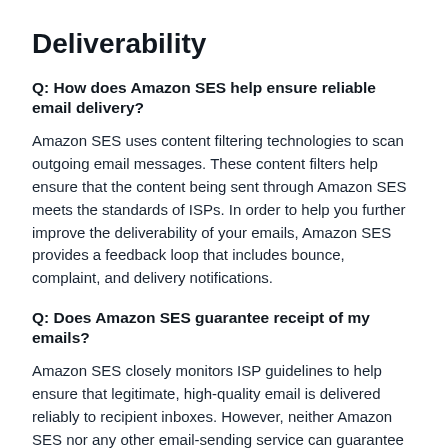Deliverability
Q: How does Amazon SES help ensure reliable email delivery?
Amazon SES uses content filtering technologies to scan outgoing email messages. These content filters help ensure that the content being sent through Amazon SES meets the standards of ISPs. In order to help you further improve the deliverability of your emails, Amazon SES provides a feedback loop that includes bounce, complaint, and delivery notifications.
Q: Does Amazon SES guarantee receipt of my emails?
Amazon SES closely monitors ISP guidelines to help ensure that legitimate, high-quality email is delivered reliably to recipient inboxes. However, neither Amazon SES nor any other email-sending service can guarantee delivery of every single email. ISPs can drop or lose email messages, recipients can accidentally provide the wrong email address, and if recipients do not wish to receive your email